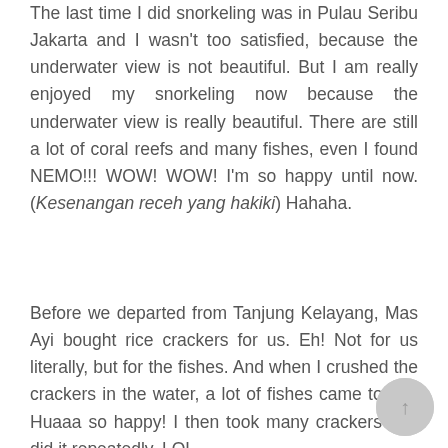The last time I did snorkeling was in Pulau Seribu Jakarta and I wasn't too satisfied, because the underwater view is not beautiful. But I am really enjoyed my snorkeling now because the underwater view is really beautiful. There are still a lot of coral reefs and many fishes, even I found NEMO!!! WOW! WOW! I'm so happy until now. (Kesenangan receh yang hakiki) Hahaha.
Before we departed from Tanjung Kelayang, Mas Ayi bought rice crackers for us. Eh! Not for us literally, but for the fishes. And when I crushed the crackers in the water, a lot of fishes came to me. Huaaa so happy! I then took many crackers and did it repeatedly. LOL.